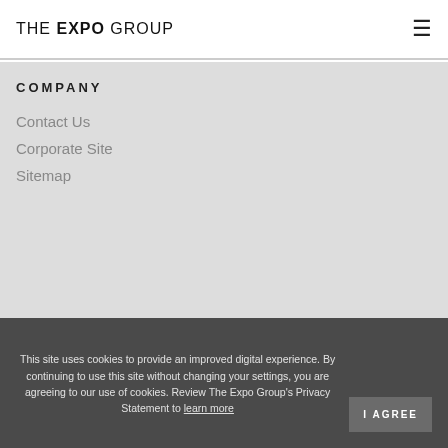THE EXPO GROUP [hamburger menu icon]
COMPANY
Contact Us
Corporate Site
Sitemap
This site uses cookies to provide an improved digital experience. By continuing to use this site without changing your settings, you are agreeing to our use of cookies. Review The Expo Group's Privacy Statement to learn more  I AGREE